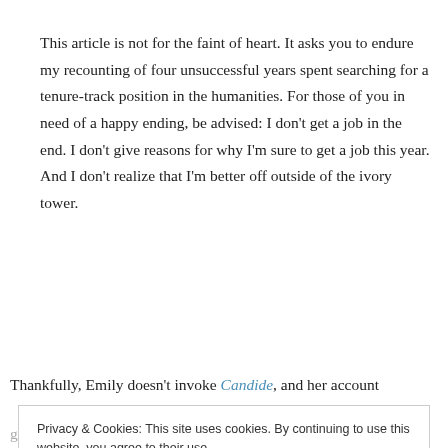This article is not for the faint of heart. It asks you to endure my recounting of four unsuccessful years spent searching for a tenure-track position in the humanities. For those of you in need of a happy ending, be advised: I don't get a job in the end. I don't give reasons for why I'm sure to get a job this year. And I don't realize that I'm better off outside of the ivory tower.
Thankfully, Emily doesn't invoke Candide, and her account
Privacy & Cookies: This site uses cookies. By continuing to use this website, you agree to their use. To find out more, including how to control cookies, see here: Cookie Policy
given year.  Many who vent on the Sociology Job Market